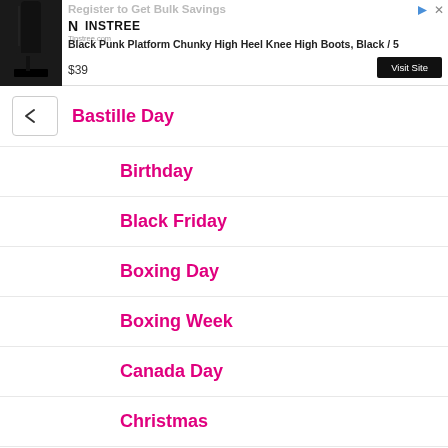[Figure (other): Advertisement banner for Ninstree.com showing black knee-high boots. Header says 'Register to Get Bulk Savings'. Product: 'Black Punk Platform Chunky High Heel Knee High Boots, Black / 5'. Price: $39. Button: 'Visit Site'.]
Bastille Day
Birthday
Black Friday
Boxing Day
Boxing Week
Canada Day
Christmas
Canadian Beauty Virtual Advent Calendars